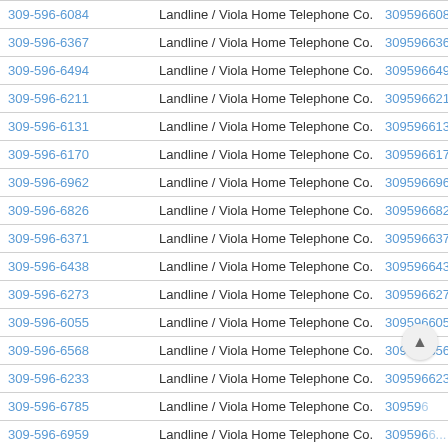| Phone | Type | Digits |
| --- | --- | --- |
| 309-596-6084 | Landline / Viola Home Telephone Co. | 3095966084 |
| 309-596-6367 | Landline / Viola Home Telephone Co. | 3095966367 |
| 309-596-6494 | Landline / Viola Home Telephone Co. | 3095966494 |
| 309-596-6211 | Landline / Viola Home Telephone Co. | 3095966211 |
| 309-596-6131 | Landline / Viola Home Telephone Co. | 3095966131 |
| 309-596-6170 | Landline / Viola Home Telephone Co. | 3095966170 |
| 309-596-6962 | Landline / Viola Home Telephone Co. | 3095966962 |
| 309-596-6826 | Landline / Viola Home Telephone Co. | 3095966826 |
| 309-596-6371 | Landline / Viola Home Telephone Co. | 3095966371 |
| 309-596-6438 | Landline / Viola Home Telephone Co. | 3095966438 |
| 309-596-6273 | Landline / Viola Home Telephone Co. | 3095966273 |
| 309-596-6055 | Landline / Viola Home Telephone Co. | 3095966055 |
| 309-596-6568 | Landline / Viola Home Telephone Co. | 3095966568 |
| 309-596-6233 | Landline / Viola Home Telephone Co. | 3095966233 |
| 309-596-6785 | Landline / Viola Home Telephone Co. | 309596... |
| 309-596-6959 | Landline / Viola Home Telephone Co. | 309596... |
| 309-596-6274 | Landline / Viola Home Telephone Co. | 3095966274 |
| 309-596-6403 | Landline / Viola Home Telephone Co. | 3095966403 |